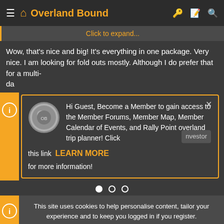Overland Bound
Click to expand...
Wow, that's nice and big! It's everything in one package. Very nice. I am looking for fold outs mostly. Although I do prefer that for a multi-da
Hi Guest, Become a Member to gain access to the Member Forums, Member Map, Member Calendar of Events, and Rally Point overland trip planner! Click this link LEARN MORE for more information!
This site uses cookies to help personalise content, tailor your experience and to keep you logged in if you register.
By continuing to use this site, you are consenting to our use of cookies.
ACCEPT   LEARN MORE...